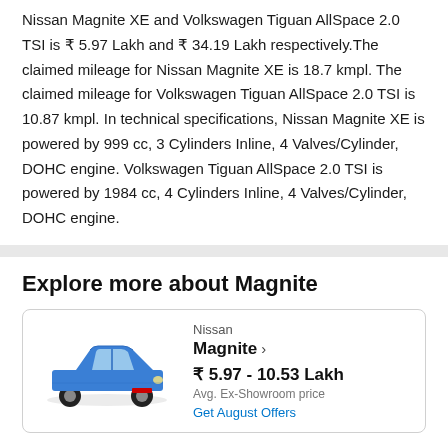Nissan Magnite XE and Volkswagen Tiguan AllSpace 2.0 TSI is ₹ 5.97 Lakh and ₹ 34.19 Lakh respectively.The claimed mileage for Nissan Magnite XE is 18.7 kmpl. The claimed mileage for Volkswagen Tiguan AllSpace 2.0 TSI is 10.87 kmpl. In technical specifications, Nissan Magnite XE is powered by 999 cc, 3 Cylinders Inline, 4 Valves/Cylinder, DOHC engine. Volkswagen Tiguan AllSpace 2.0 TSI is powered by 1984 cc, 4 Cylinders Inline, 4 Valves/Cylinder, DOHC engine.
Explore more about Magnite
[Figure (photo): Blue Nissan Magnite SUV car image shown in a product card]
Nissan
Magnite >
₹ 5.97 - 10.53 Lakh
Avg. Ex-Showroom price
Get August Offers